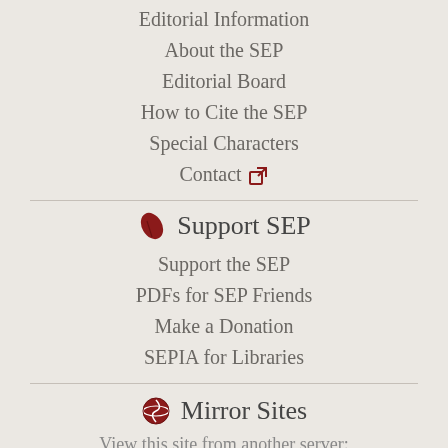Editorial Information
About the SEP
Editorial Board
How to Cite the SEP
Special Characters
Contact
Support SEP
Support the SEP
PDFs for SEP Friends
Make a Donation
SEPIA for Libraries
Mirror Sites
View this site from another server:
Australia
Library, University of Sydney